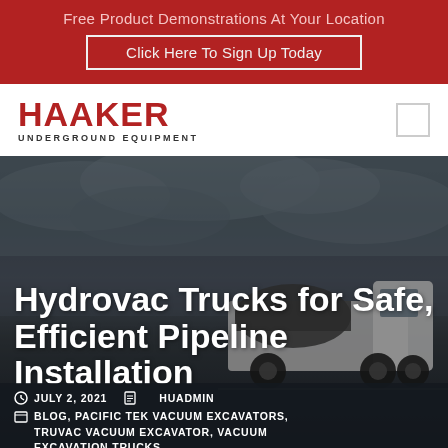Free Product Demonstrations At Your Location
Click Here To Sign Up Today
[Figure (logo): HAAKER UNDERGROUND EQUIPMENT logo in red and black]
[Figure (photo): Hydrovac truck on a job site with cloudy sky background]
Hydrovac Trucks for Safe, Efficient Pipeline Installation
JULY 2, 2021  HUADMIN
BLOG, PACIFIC TEK VACUUM EXCAVATORS, TRUVAC VACUUM EXCAVATOR, VACUUM EXCAVATION TRUCKS